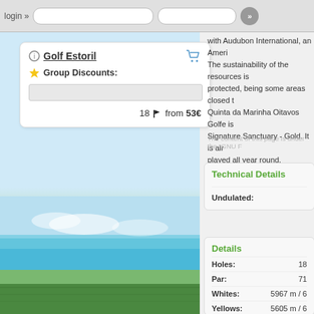login »
Golf Estoril
Group Discounts:
18 from 53€
[Figure (photo): Aerial view of coastal landscape with green vegetation and blue sea]
with Audubon International, an Ameri... The sustainability of the resources is protected, being some areas closed t... Quinta da Marinha Oitavos Golfe is Signature Sanctuary - Gold. It is alr... played all year round.
The content of this page is under the *GNU F...
Technical Details
| Field | Value |
| --- | --- |
| Undulated: |  |
Details
| Field | Value |
| --- | --- |
| Holes: | 18 |
| Par: | 71 |
| Whites: | 5967 m / 6... |
| Yellows: | 5605 m / 6... |
| Reds: | 4488m / 49... |
| Greens: | Penn Cros... |
| Fairways: | Bermuda... |